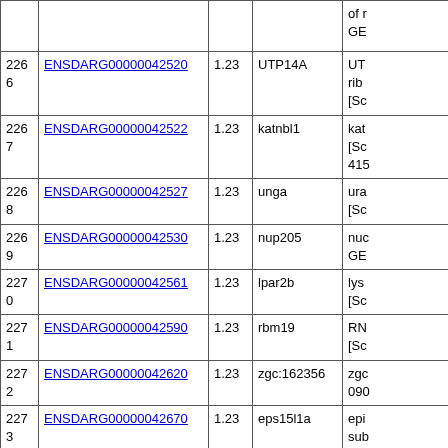| # | Gene ID | Value | Symbol | Description |
| --- | --- | --- | --- | --- |
|  |  |  |  | of r GE |
| 2266 | ENSDARG00000042520 | 1.23 | UTP14A | UT rib [Sc |
| 2267 | ENSDARG00000042522 | 1.23 | katnbl1 | kat [Sc 415 |
| 2268 | ENSDARG00000042527 | 1.23 | unga | ura [Sc |
| 2269 | ENSDARG00000042530 | 1.23 | nup205 | nuc GE |
| 2270 | ENSDARG00000042561 | 1.23 | lpar2b | lys [Sc |
| 2271 | ENSDARG00000042590 | 1.23 | rbm19 | RN [Sc |
| 2272 | ENSDARG00000042620 | 1.23 | zgc:162356 | zgc 090 |
| 2273 | ENSDARG00000042670 | 1.23 | eps15l1a | epi sub GE |
| 2274 | ENSDARG00000042671 | 1.23 | C2H1orf27 | chr [S |